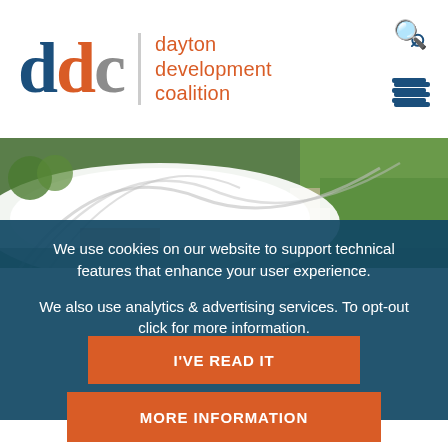[Figure (logo): Dayton Development Coalition logo with stylized 'ddc' letters in blue, orange, and gray, orange text reading 'dayton development coalition']
[Figure (photo): Aerial photograph of an outdoor amphitheater or pavilion with white tent structure and green lawn areas]
We use cookies on our website to support technical features that enhance your user experience.
We also use analytics & advertising services. To opt-out click for more information.
I'VE READ IT
MORE INFORMATION